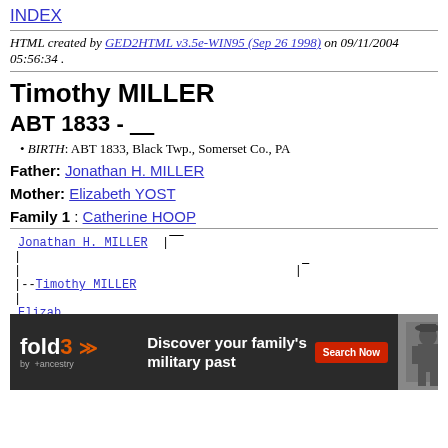INDEX
HTML created by GED2HTML v3.5e-WIN95 (Sep 26 1998) on 09/11/2004 05:56:34 .
Timothy MILLER
ABT 1833 - ____
BIRTH: ABT 1833, Black Twp., Somerset Co., PA
Father: Jonathan H. MILLER
Mother: Elizabeth YOST
Family 1 : Catherine HOOP
[Figure (other): Family tree diagram showing Jonathan H. MILLER at top, connecting lines, --Timothy MILLER in middle, Elizabeth below, with ad overlay at bottom]